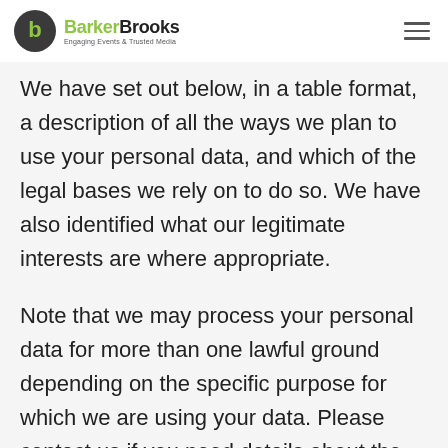BarkerBrooks — Engaging Events & Trusted Media
We have set out below, in a table format, a description of all the ways we plan to use your personal data, and which of the legal bases we rely on to do so. We have also identified what our legitimate interests are where appropriate.
Note that we may process your personal data for more than one lawful ground depending on the specific purpose for which we are using your data. Please contact us if you need details about the specific legal ground we are relying on to process your personal data where more